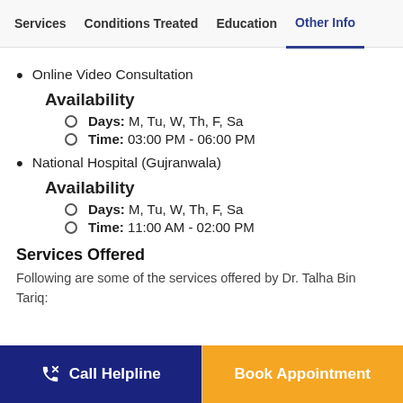Services | Conditions Treated | Education | Other Info
Online Video Consultation
Availability
Days: M, Tu, W, Th, F, Sa
Time: 03:00 PM - 06:00 PM
National Hospital (Gujranwala)
Availability
Days: M, Tu, W, Th, F, Sa
Time: 11:00 AM - 02:00 PM
Services Offered
Following are some of the services offered by Dr. Talha Bin Tariq: